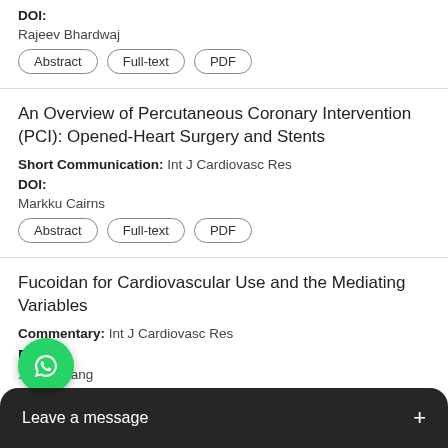DOI:
Rajeev Bhardwaj
Abstract | Full-text | PDF
An Overview of Percutaneous Coronary Intervention (PCI): Opened-Heart Surgery and Stents
Short Communication: Int J Cardiovasc Res
DOI:
Markku Cairns
Abstract | Full-text | PDF
Fucoidan for Cardiovascular Use and the Mediating Variables
Commentary: Int J Cardiovasc Res
DOI:
...dong Yang
[Figure (screenshot): WhatsApp chat bubble and 'Leave a message' bar overlay at the bottom of the screen]